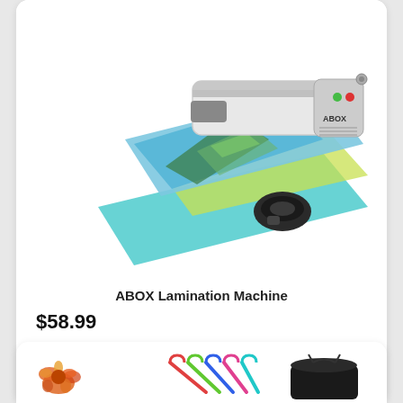[Figure (photo): ABOX Lamination Machine product photo showing a white laminator with colorful laminated sheets coming out, and a small black corner punch tool beside it. The device has ABOX branding with red and green indicator lights.]
ABOX Lamination Machine
$58.99
Check it out!
[Figure (photo): Bottom card partially visible showing colorful product items: orange/multi-color clips on left, colorful hangers in center, and a black bag on the right.]